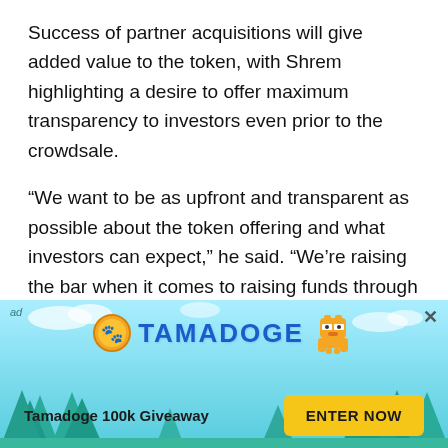Success of partner acquisitions will give added value to the token, with Shrem highlighting a desire to offer maximum transparency to investors even prior to the crowdsale.
“We want to be as upfront and transparent as possible about the token offering and what investors can expect,” he said. “We’re raising the bar when it comes to raising funds through an initial token offering.”
Charlie Shrem – A Name You Can Trust...
[Figure (other): Advertisement banner for Tamadoge 100k Giveaway with pixel-art dog mascot, coin logo, blue text logo, and Enter Now button on a teal illustrated forest background]